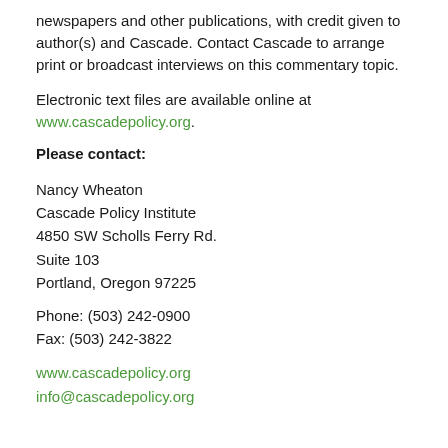newspapers and other publications, with credit given to author(s) and Cascade. Contact Cascade to arrange print or broadcast interviews on this commentary topic.
Electronic text files are available online at www.cascadepolicy.org.
Please contact:
Nancy Wheaton
Cascade Policy Institute
4850 SW Scholls Ferry Rd.
Suite 103
Portland, Oregon 97225
Phone: (503) 242-0900
Fax: (503) 242-3822
www.cascadepolicy.org
info@cascadepolicy.org